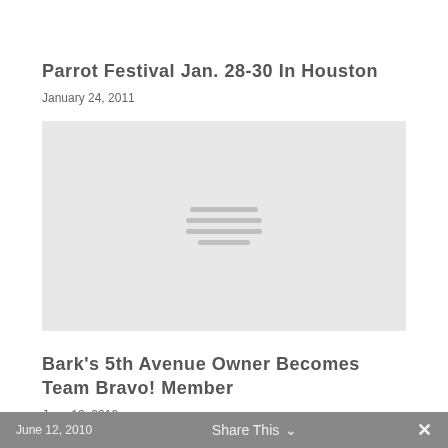Parrot Festival Jan. 28-30 In Houston
January 24, 2011
[Figure (photo): Placeholder image with grey background and four horizontal lines in the center]
Bark’s 5th Avenue Owner Becomes Team Bravo! Member
June 12, 2010
June 12, 2010   Share This   ✕